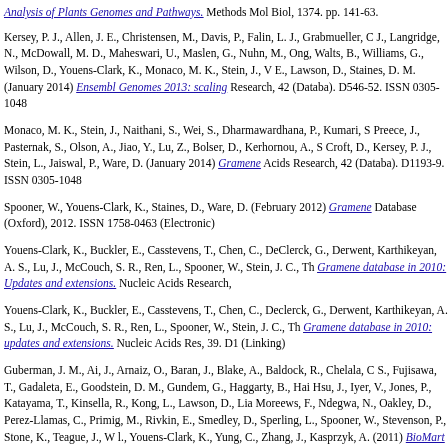Analysis of Plants Genomes and Pathways. Methods Mol Biol, 1374. pp. 141-63.
Kersey, P. J., Allen, J. E., Christensen, M., Davis, P., Falin, L. J., Grabmueller, C J., Langridge, N., McDowall, M. D., Maheswari, U., Maslen, G., Nuhn, M., Ong, Walts, B., Williams, G., Wilson, D., Youens-Clark, K., Monaco, M. K., Stein, J., V E., Lawson, D., Staines, D. M. (January 2014) Ensembl Genomes 2013: scaling Research, 42 (Databa). D546-52. ISSN 0305-1048
Monaco, M. K., Stein, J., Naithani, S., Wei, S., Dharmawardhana, P., Kumari, S Preece, J., Pasternak, S., Olson, A., Jiao, Y., Lu, Z., Bolser, D., Kerhornou, A., S Croft, D., Kersey, P. J., Stein, L., Jaiswal, P., Ware, D. (January 2014) Gramene Acids Research, 42 (Databa). D1193-9. ISSN 0305-1048
Spooner, W., Youens-Clark, K., Staines, D., Ware, D. (February 2012) Gramene Database (Oxford), 2012. ISSN 1758-0463 (Electronic)
Youens-Clark, K., Buckler, E., Casstevens, T., Chen, C., DeClerck, G., Derwent, Karthikeyan, A. S., Lu, J., McCouch, S. R., Ren, L., Spooner, W., Stein, J. C., Th Gramene database in 2010: Updates and extensions. Nucleic Acids Research,
Youens-Clark, K., Buckler, E., Casstevens, T., Chen, C., Declerck, G., Derwent, Karthikeyan, A. S., Lu, J., McCouch, S. R., Ren, L., Spooner, W., Stein, J. C., Th Gramene database in 2010: updates and extensions. Nucleic Acids Res, 39. D1 (Linking)
Guberman, J. M., Ai, J., Arnaiz, O., Baran, J., Blake, A., Baldock, R., Chelala, C S., Fujisawa, T., Gadaleta, E., Goodstein, D. M., Gundem, G., Haggarty, B., Hai Hsu, J., Iyer, V., Jones, P., Katayama, T., Kinsella, R., Kong, L., Lawson, D., Lia Moreews, F., Ndegwa, N., Oakley, D., Perez-Llamas, C., Primig, M., Rivkin, E., Smedley, D., Sperling, L., Spooner, W., Stevenson, P., Stone, K., Teague, J., W l., Youens-Clark, K., Yung, C., Zhang, J., Kasprzyk, A. (2011) BioMart Central